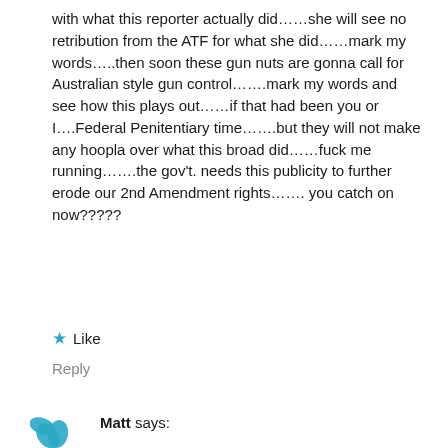with what this reporter actually did……she will see no retribution from the ATF for what she did……mark my words…..then soon these gun nuts are gonna call for Australian style gun control…….mark my words and see how this plays out……if that had been you or I….Federal Penitentiary time…….but they will not make any hoopla over what this broad did……fuck me running…….the gov't. needs this publicity to further erode our 2nd Amendment rights……. you catch on now?????
★ Like
Reply
Matt says: